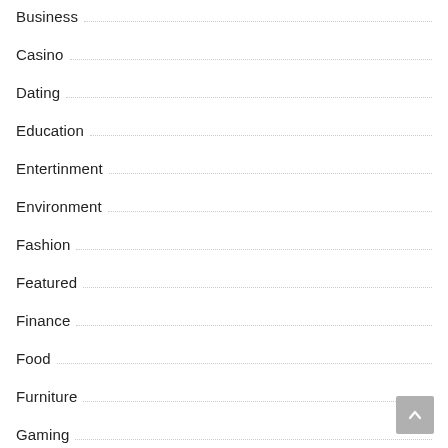Business
Casino
Dating
Education
Entertinment
Environment
Fashion
Featured
Finance
Food
Furniture
Gaming